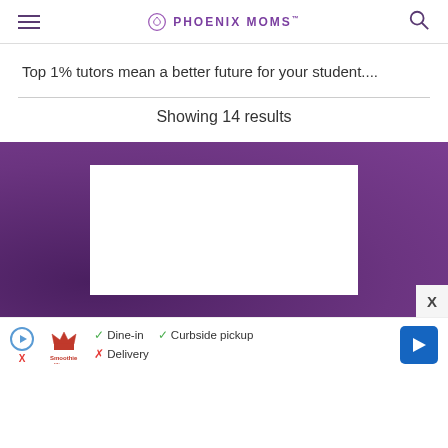PHOENIX MOMS
Top 1% tutors mean a better future for your student....
Showing 14 results
[Figure (screenshot): Purple advertisement banner with white content box in center, and an X close button in the bottom right corner]
[Figure (screenshot): Bottom advertisement bar for Smoothie King showing Dine-in checkmark, Curbside pickup checkmark, Delivery with X, and a blue navigation arrow button]